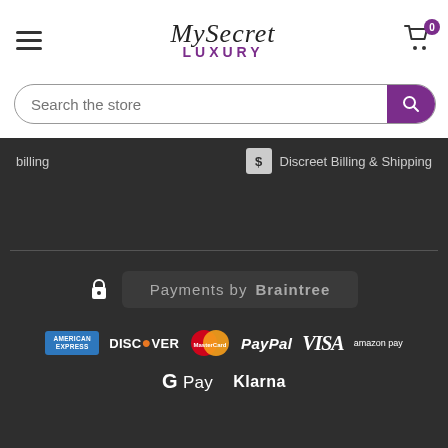[Figure (screenshot): MySecret Luxury e-commerce website header with hamburger menu, logo, cart icon, search bar, billing info bar, and payment provider logos including Braintree, American Express, Discover, MasterCard, PayPal, VISA, Amazon Pay, Google Pay, and Klarna]
billing
Discreet Billing & Shipping
Payments by Braintree
[Figure (logo): Payment logos: American Express, Discover, MasterCard, PayPal, VISA, Amazon Pay, Google Pay, Klarna]